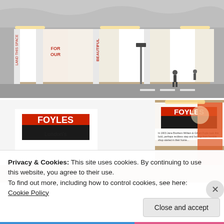[Figure (photo): Street-level photograph of a construction hoarding covered with red and white illustrated artwork panels, with people walking past. Text on panels includes 'FOR OUR', 'BEAUTIFUL'. Construction scaffolding with silver tarpaulin visible above.]
[Figure (photo): Close-up photograph of Foyles bookshop hoarding showing the Foyles logo (black square with red rectangle and white FOYLES text) repeated twice, with 'London's' text below and illustrated panels in the background.]
Privacy & Cookies: This site uses cookies. By continuing to use this website, you agree to their use.
To find out more, including how to control cookies, see here: Cookie Policy